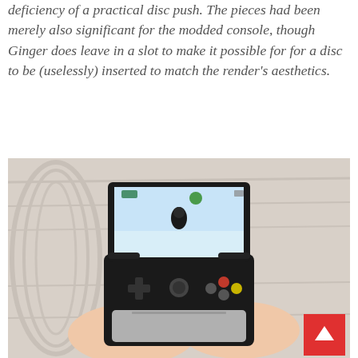deficiency of a practical disc push. The pieces had been merely also significant for the modded console, though Ginger does leave in a slot to make it possible for for a disc to be (uselessly) inserted to match the render's aesthetics.
[Figure (photo): A person holding a handheld gaming device with a screen displaying a video game, the device resembles a modded Xbox-style portable console with a clamshell design, placed on a wooden surface. A red back-to-top button is visible in the bottom right corner.]